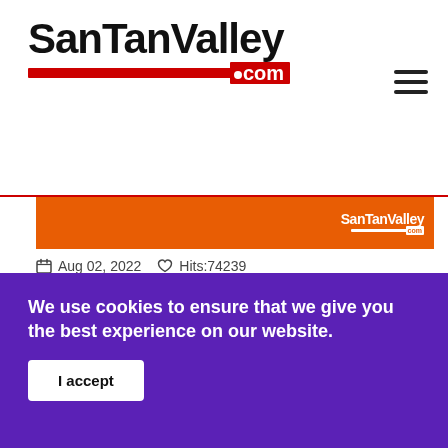SanTanValley.com
[Figure (screenshot): Orange banner with SanTanValley.com logo in white]
Aug 02, 2022   Hits:74239
Do I Live in San Tan Valley?
We use cookies to ensure that we give you the best experience on our website.
I accept